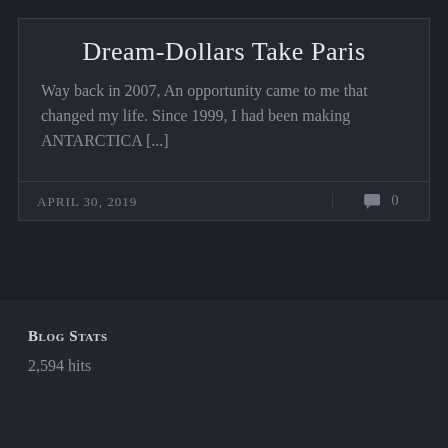Dream-Dollars Take Paris
Way back in 2007, An opportunity came to me that changed my life. Since 1999, I had been making ANTARCTICA [...]
APRIL 30, 2019
0
Blog Stats
2,594 hits